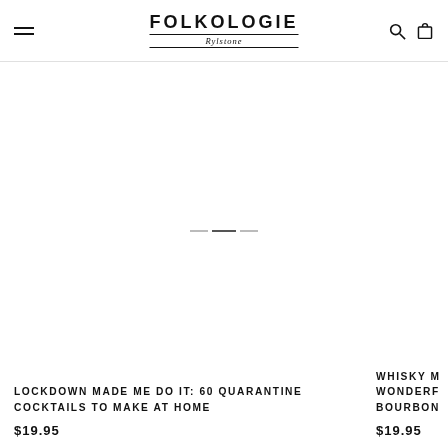Folkologie Rylstone — Navigation header with menu, logo, search, and cart icons
[Figure (photo): Product image area for Lockdown Made Me Do It cocktail book (white/blank area)]
LOCKDOWN MADE ME DO IT: 60 QUARANTINE COCKTAILS TO MAKE AT HOME
$19.95
[Figure (photo): Partial product image area for Whisky book (partially visible on right)]
WHISKY M... WONDERF... BOURBON...
$19.95